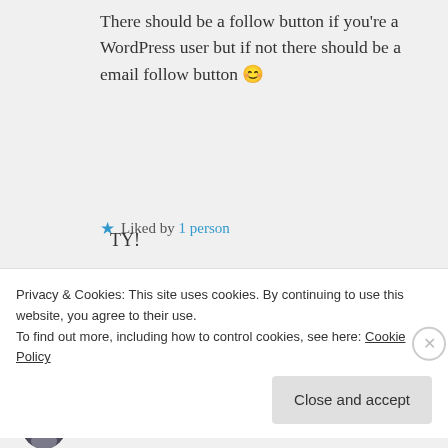There should be a follow button if you're a WordPress user but if not there should be a email follow button 😊
★ Liked by 1 person
Log in to Reply
Rae Longest on September 3, 2016 at 19:34
TY!
Privacy & Cookies: This site uses cookies. By continuing to use this website, you agree to their use. To find out more, including how to control cookies, see here: Cookie Policy